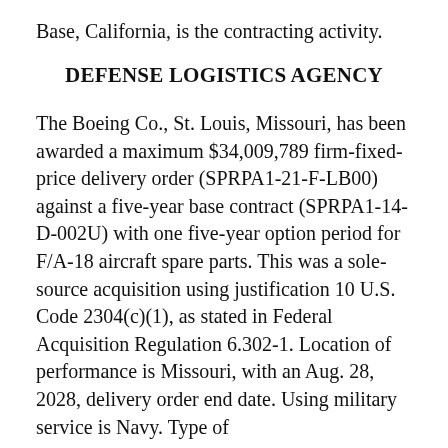Base, California, is the contracting activity.
DEFENSE LOGISTICS AGENCY
The Boeing Co., St. Louis, Missouri, has been awarded a maximum $34,009,789 firm-fixed-price delivery order (SPRPA1-21-F-LB00) against a five-year base contract (SPRPA1-14-D-002U) with one five-year option period for F/A-18 aircraft spare parts. This was a sole-source acquisition using justification 10 U.S. Code 2304(c)(1), as stated in Federal Acquisition Regulation 6.302-1. Location of performance is Missouri, with an Aug. 28, 2028, delivery order end date. Using military service is Navy. Type of